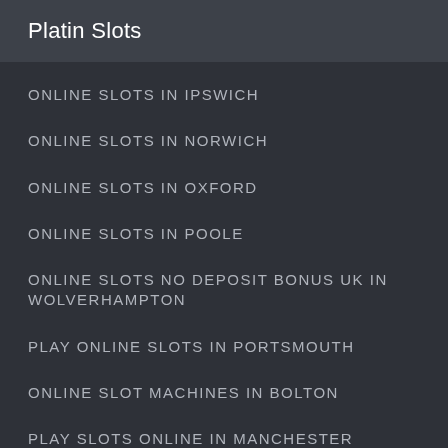Platin Slots
ONLINE SLOTS IN IPSWICH
ONLINE SLOTS IN NORWICH
ONLINE SLOTS IN OXFORD
ONLINE SLOTS IN POOLE
ONLINE SLOTS NO DEPOSIT BONUS UK IN WOLVERHAMPTON
PLAY ONLINE SLOTS IN PORTSMOUTH
ONLINE SLOT MACHINES IN BOLTON
PLAY SLOTS ONLINE IN MANCHESTER
PLAY SLOT ONLINE IN SHEFFIELD